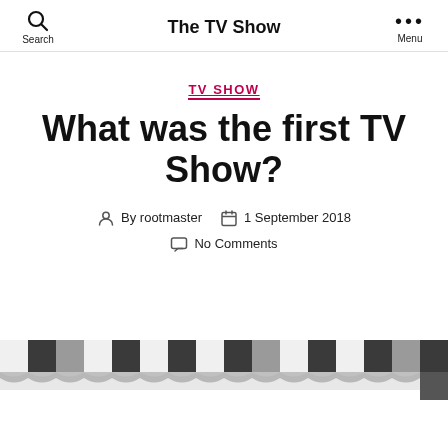Search | The TV Show | Menu
TV SHOW
What was the first TV Show?
By rootmaster  1 September 2018  No Comments
[Figure (illustration): Film strip / clapperboard strip at the bottom of the page, showing alternating black and white rectangular blocks in a filmstrip pattern.]